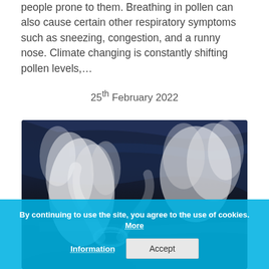people prone to them. Breathing in pollen can also cause certain other respiratory symptoms such as sneezing, congestion, and a runny nose. Climate changing is constantly shifting pollen levels,…
25th February 2022
[Figure (photo): Close-up photo of a car exhaust pipe emitting white smoke/fumes, with a blurred green background]
By continuing to use the site, you agree to the use of cookies. More Information  Accept